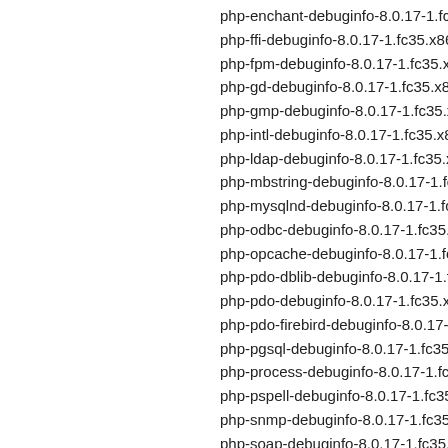php-enchant-debuginfo-8.0.17-1.fc35.x86_64.rpm
php-ffi-debuginfo-8.0.17-1.fc35.x86_64.rpm
php-fpm-debuginfo-8.0.17-1.fc35.x86_64.rpm
php-gd-debuginfo-8.0.17-1.fc35.x86_64.rpm
php-gmp-debuginfo-8.0.17-1.fc35.x86_64.rpm
php-intl-debuginfo-8.0.17-1.fc35.x86_64.rpm
php-ldap-debuginfo-8.0.17-1.fc35.x86_64.rpm
php-mbstring-debuginfo-8.0.17-1.fc35.x86_64.rpm
php-mysqlnd-debuginfo-8.0.17-1.fc35.x86_64.rpm
php-odbc-debuginfo-8.0.17-1.fc35.x86_64.rpm
php-opcache-debuginfo-8.0.17-1.fc35.x86_64.rpm
php-pdo-dblib-debuginfo-8.0.17-1.fc35.x86_64.rpm
php-pdo-debuginfo-8.0.17-1.fc35.x86_64.rpm
php-pdo-firebird-debuginfo-8.0.17-1.fc35.x86_64.rpm
php-pgsql-debuginfo-8.0.17-1.fc35.x86_64.rpm
php-process-debuginfo-8.0.17-1.fc35.x86_64.rpm
php-pspell-debuginfo-8.0.17-1.fc35.x86_64.rpm
php-snmp-debuginfo-8.0.17-1.fc35.x86_64.rpm
php-soap-debuginfo-8.0.17-1.fc35.x86_64.rpm
php-sodium-debuginfo-8.0.17-1.fc35.x86_64.rpm